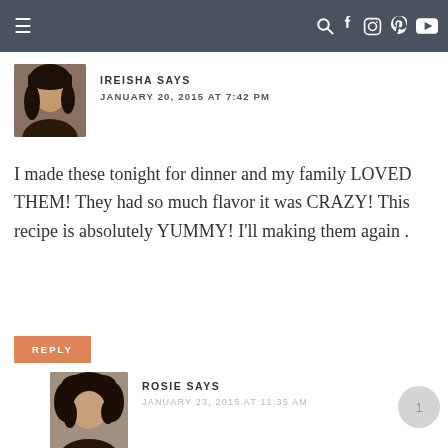≡  🔍 f 🎥 𝐩 ▶
[Figure (photo): Avatar photo of Ireisha, a woman with dark hair]
IREISHA SAYS
JANUARY 20, 2015 AT 7:42 PM
I made these tonight for dinner and my family LOVED THEM! They had so much flavor it was CRAZY! This recipe is absolutely YUMMY! I'll making them again .
REPLY
[Figure (photo): Avatar photo of Rosie, a woman with curly dark hair]
ROSIE SAYS
JANUARY 23, 2015 AT 11:35 AM